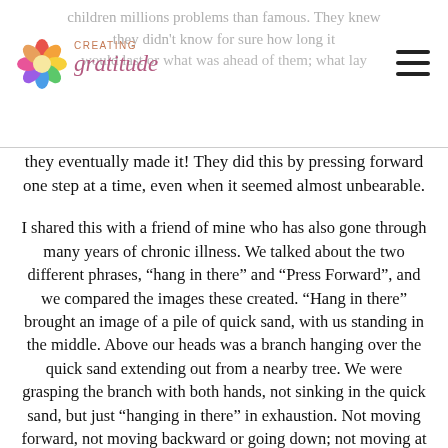Creating Gratitude [logo with hamburger menu]
they eventually made it! They did this by pressing forward one step at a time, even when it seemed almost unbearable.
I shared this with a friend of mine who has also gone through many years of chronic illness. We talked about the two different phrases, “hang in there” and “Press Forward”, and we compared the images these created. “Hang in there” brought an image of a pile of quick sand, with us standing in the middle. Above our heads was a branch hanging over the quick sand extending out from a nearby tree. We were grasping the branch with both hands, not sinking in the quick sand, but just “hanging in there” in exhaustion. Not moving forward, not moving backward or going down; not moving at all.